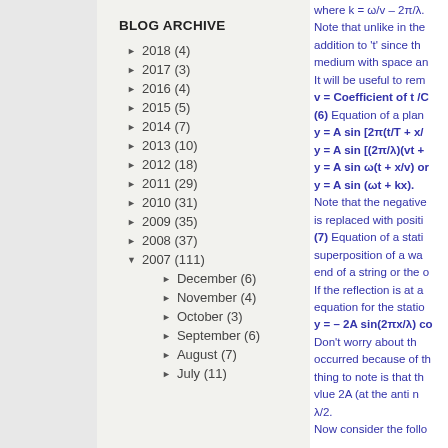BLOG ARCHIVE
► 2018 (4)
► 2017 (3)
► 2016 (4)
► 2015 (5)
► 2014 (7)
► 2013 (10)
► 2012 (18)
► 2011 (29)
► 2010 (31)
► 2009 (35)
► 2008 (37)
▼ 2007 (111)
► December (6)
► November (4)
► October (3)
► September (6)
► August (7)
► July (11)
where k = ω/v = 2π/λ. Note that unlike in the addition to 't' since the medium with space and It will be useful to rem v = Coefficient of t /C (6) Equation of a plane y = A sin [2π(t/T + x/ y = A sin [(2π/λ)(vt + y = A sin ω(t + x/v) or y = A sin (ωt + kx). Note that the negative is replaced with positi (7) Equation of a stati superposition of a wav end of a string or the o If the reflection is at a equation for the station y = – 2A sin(2πx/λ) co Don't worry about th occurred because of th thing to note is that th vlue 2A (at the anti n λ/2. Now consider the follo